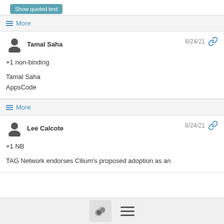Show quoted text
More
Tamal Saha
8/24/21

+1 non-binding

Tamal Saha
AppsCode
More
Lee Calcote
8/24/21

+1 NB

TAG Network endorses Cilium's proposed adoption as an